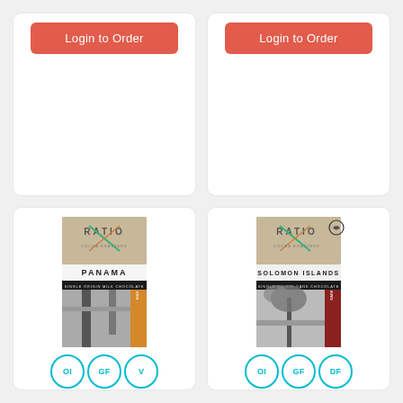[Figure (screenshot): Top-left product card with Login to Order button (coral/red), white card with rounded corners, no product image shown]
[Figure (screenshot): Top-right product card with Login to Order button (coral/red), white card with rounded corners, no product image shown]
[Figure (photo): Bottom-left product card: Ratio Cocoa Roasters Panama 45% single origin milk chocolate bar packaging with black and white street photo. Badges: OI, GF, V]
[Figure (photo): Bottom-right product card: Ratio Cocoa Roasters Solomon Islands 76% single origin dark chocolate bar packaging with black and white palm tree photo. Badges: OI, GF, DF]